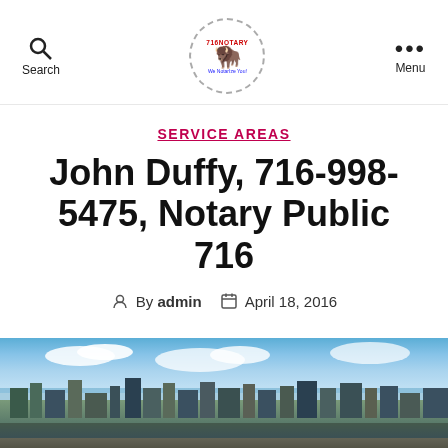Search | 716Notary Logo | Menu
SERVICE AREAS
John Duffy, 716-998-5475, Notary Public 716
By admin  April 18, 2016
[Figure (photo): Aerial cityscape photo of Buffalo, NY showing downtown skyline and waterfront under blue sky with clouds]